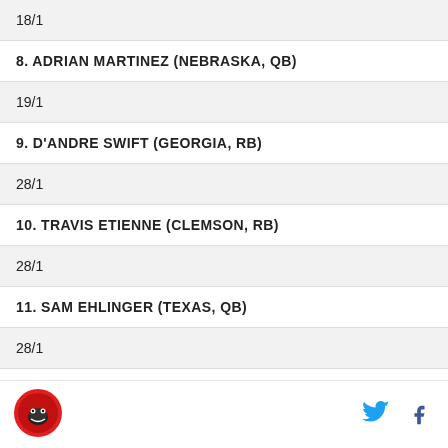18/1
8. ADRIAN MARTINEZ (NEBRASKA, QB)
19/1
9. D'ANDRE SWIFT (GEORGIA, RB)
28/1
10. TRAVIS ETIENNE (CLEMSON, RB)
28/1
11. SAM EHLINGER (TEXAS, QB)
28/1
12. NAJEE HARRIS (ALABAMA, RB)
32/1
Logo | Twitter | Facebook